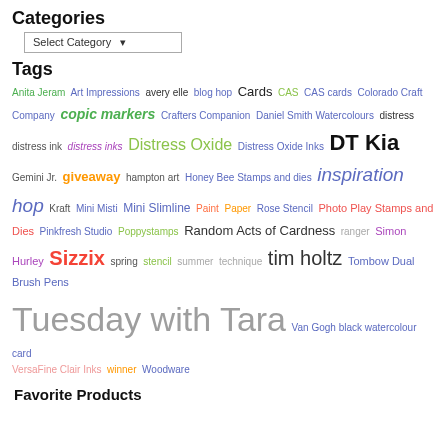Categories
Select Category
Tags
Anita Jeram Art Impressions avery elle blog hop Cards CAS CAS cards Colorado Craft Company copic markers Crafters Companion Daniel Smith Watercolours distress distress ink distress inks Distress Oxide Distress Oxide Inks DT Kia Gemini Jr. giveaway hampton art Honey Bee Stamps and dies inspiration hop Kraft Mini Misti Mini Slimline Paint Paper Rose Stencil Photo Play Stamps and Dies Pinkfresh Studio Poppystamps Random Acts of Cardness ranger Simon Hurley Sizzix spring stencil summer technique tim holtz Tombow Dual Brush Pens Tuesday with Tara Van Gogh black watercolour card VersaFine Clair Inks winner Woodware
Favorite Products